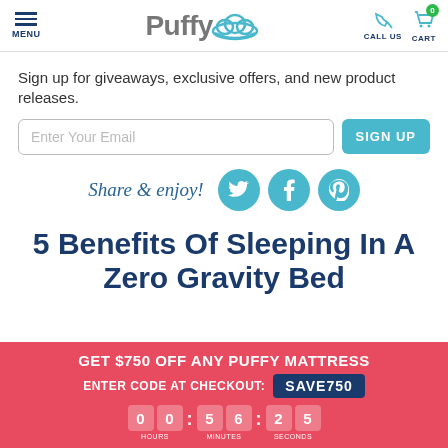MENU | Puffy | CALL US | CART 0
Sign up for giveaways, exclusive offers, and new product releases.
Share & enjoy!
5 Benefits Of Sleeping In A Zero Gravity Bed
GET $750 OFF ANY PUFFY MATTRESS ENTER CODE AT CHECKOUT: SAVE750 00:56:25 HOURS MINUTES SECONDS